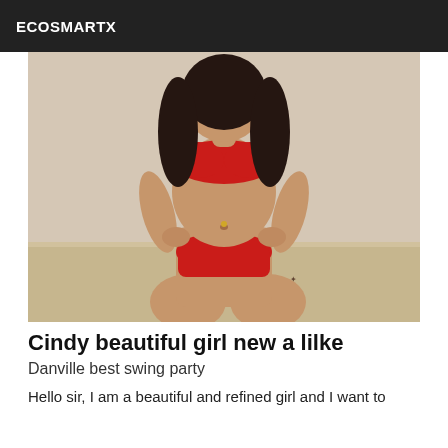ECOSMARTX
[Figure (photo): A woman kneeling on a bed wearing red lingerie, posed with hands on hips, dark hair, against a light wall background.]
Cindy beautiful girl new a lilke
Danville best swing party
Hello sir, I am a beautiful and refined girl and I want to